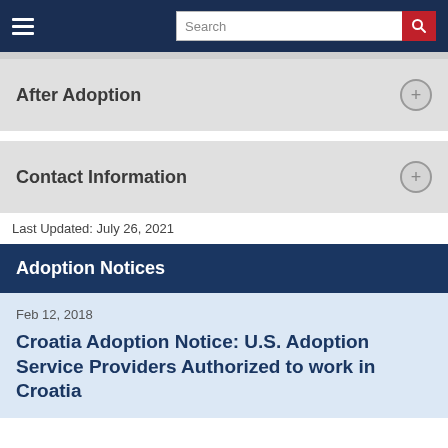Search
After Adoption
Contact Information
Last Updated: July 26, 2021
Adoption Notices
Feb 12, 2018
Croatia Adoption Notice: U.S. Adoption Service Providers Authorized to work in Croatia